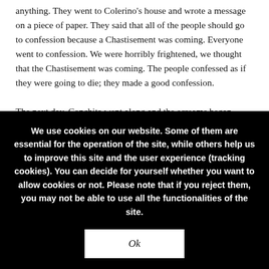anything. They went to Colerino's house and wrote a message on a piece of paper. They said that all of the people should go to confession because a Chastisement was coming. Everyone went to confession. We were horribly frightened, we thought that the Chastisement was coming. The people confessed as if they were going to die; they made a good confession.

The next day, Conchita went along and the screams began again. They said that she had experienced calling...
We use cookies on our website. Some of them are essential for the operation of the site, while others help us to improve this site and the user experience (tracking cookies). You can decide for yourself whether you want to allow cookies or not. Please note that if you reject them, you may not be able to use all the functionalities of the site.
Ok